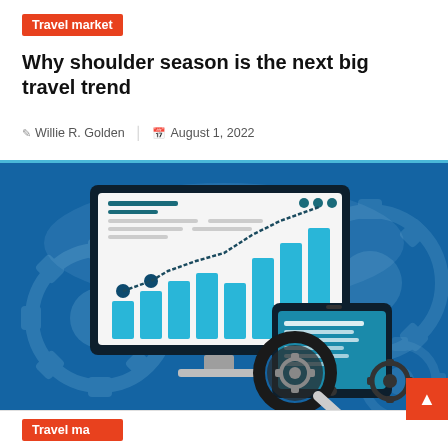Travel market
Why shoulder season is the next big travel trend
Willie R. Golden  |  August 1, 2022
[Figure (illustration): Digital marketing analytics illustration showing a desktop monitor displaying a bar chart with rising cyan bars, a tablet device, a magnifying glass over gear icons, and decorative gear/cog shapes in dark teal blue background]
Travel market